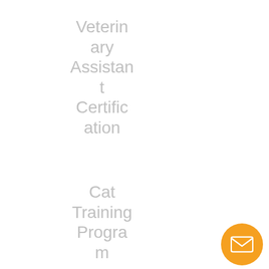Veterinary Assistant Certification
Cat Training Program
Aquarium Maintenance Certification
Zookeeper Assistant Certific
[Figure (illustration): Orange circular email/envelope button in bottom right corner]